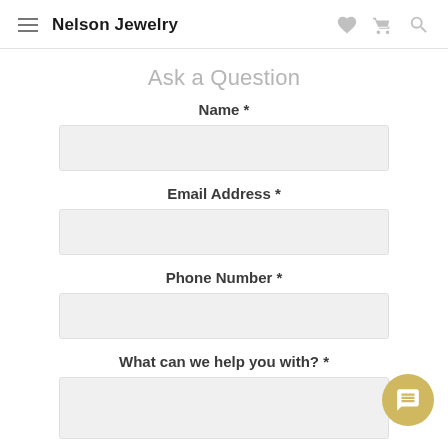Nelson Jewelry
Ask a Question
Name *
Email Address *
Phone Number *
What can we help you with? *